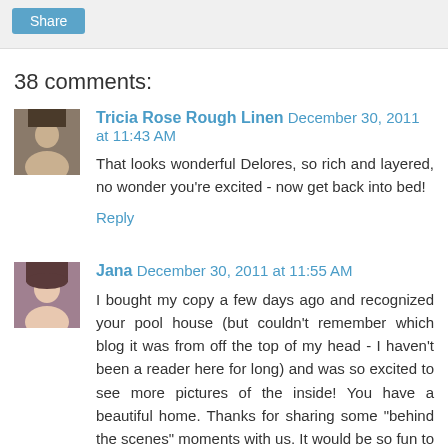[Figure (other): Share button in gray top bar]
38 comments:
Tricia Rose Rough Linen December 30, 2011 at 11:43 AM
That looks wonderful Delores, so rich and layered, no wonder you're excited - now get back into bed!
Reply
Jana December 30, 2011 at 11:55 AM
I bought my copy a few days ago and recognized your pool house (but couldn't remember which blog it was from off the top of my head - I haven't been a reader here for long) and was so excited to see more pictures of the inside! You have a beautiful home. Thanks for sharing some "behind the scenes" moments with us. It would be so fun to have a stylist come in and work their magic on my home!
Reply